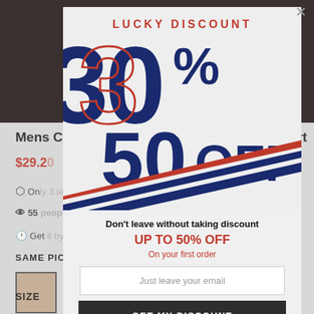[Figure (screenshot): Dimmed background of an e-commerce product page showing partial text: Mens C... Shirt, price $29.2..., shipping icon with 'Onl...', eye icon with '55', clock icon with 'Ge...', SAME PIC section with thumbnail, and SIZE label]
[Figure (infographic): Lucky Discount popup modal with large '30% 50 OFF' graphic in navy blue and red on light grey background, diagonal stripe decoration in red and navy]
Don't leave without taking discount
UP TO 50% OFF
On your first order
Just leave your email
GET MY DISCOUNT